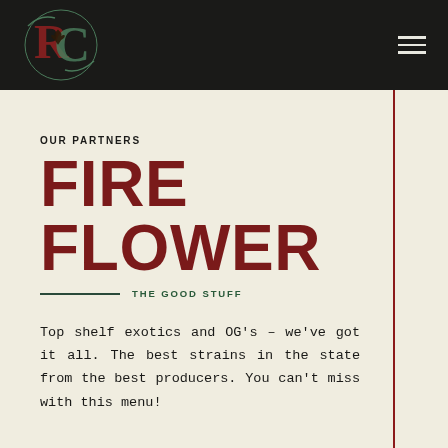[Figure (logo): Decorative cannabis dispensary logo with stylized letters R and C intertwined with cannabis leaf motif in red/green on dark background]
OUR PARTNERS
FIRE FLOWER
THE GOOD STUFF
Top shelf exotics and OG's – we've got it all. The best strains in the state from the best producers. You can't miss with this menu!